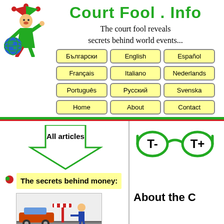[Figure (illustration): Jester/court fool character in green costume kicking a globe, illustration]
Court Fool . Info
The court fool reveals secrets behind world events...
Български
English
Español
Français
Italiano
Nederlands
Português
Русский
Svenska
Home
About
Contact
[Figure (illustration): Green downward arrow with 'All articles' label]
The secrets behind money:
[Figure (illustration): Cartoon of a car being stopped at a barrier by an official/guard]
[Figure (illustration): Green glasses icon with T- and T+ text size controls]
About the C